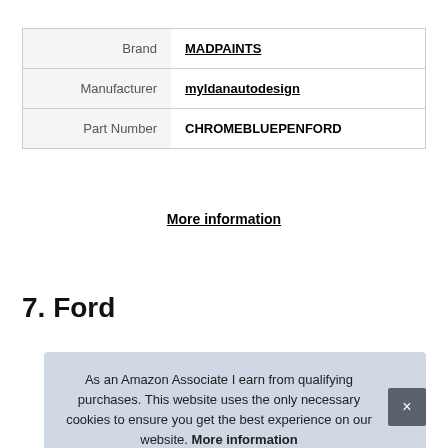|  |  |
| --- | --- |
| Brand | MADPAINTS |
| Manufacturer | myldanautodesign |
| Part Number | CHROMEBLUEPENFORD |
More information
7. Ford
As an Amazon Associate I earn from qualifying purchases. This website uses the only necessary cookies to ensure you get the best experience on our website. More information